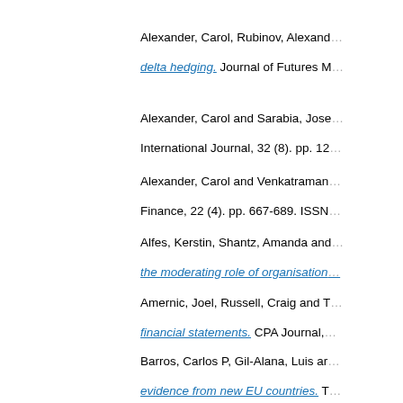Alexander, Carol, Rubinov, Alexand… delta hedging. Journal of Futures M…
Alexander, Carol and Sarabia, Jose… International Journal, 32 (8). pp. 12…
Alexander, Carol and Venkatraman… Finance, 22 (4). pp. 667-689. ISSN…
Alfes, Kerstin, Shantz, Amanda and… the moderating role of organisation…
Amernic, Joel, Russell, Craig and T… financial statements. CPA Journal,…
Barros, Carlos P, Gil-Alana, Luis ar… evidence from new EU countries. T…
Barros, Carlos Pestana, Managi, S… non-radial directional performance …
Baulch, Bob, Pham, Hung T and Re… Development Studies, 40 (1). pp. 8…
Bozkurt, Ödul (2012) [Review] Polit… identities (2011). Journal of Interna…